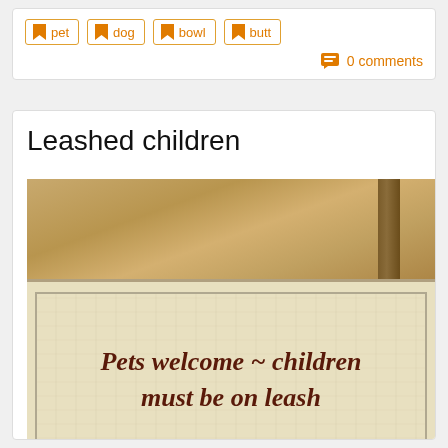pet
dog
bowl
butt
0 comments
Leashed children
[Figure (photo): Photo of a vintage crackle-finish sign reading 'Pets welcome ~ children must be on leash', placed on a wooden shelf above a dark baseboard.]